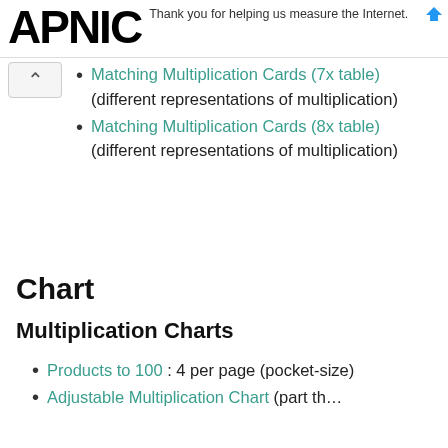APNIC — Thank you for helping us measure the Internet.
Matching Multiplication Cards (7x table) (different representations of multiplication)
Matching Multiplication Cards (8x table) (different representations of multiplication)
Chart
Multiplication Charts
Products to 100 : 4 per page (pocket-size)
Adjustable Multiplication Chart (part shown)